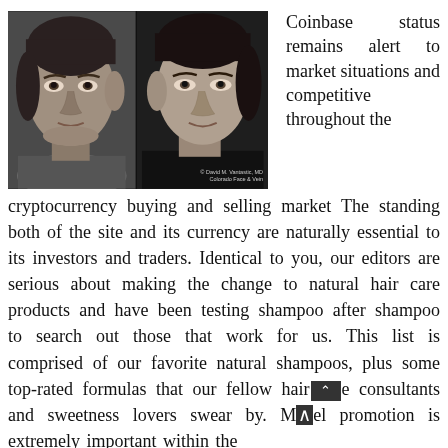[Figure (photo): Two side-by-side close-up portrait photos of a woman's face, before and after comparison. Black and white. Attribution text bottom right: © David M. Vantastic, MD / Colorado Face & Vein]
Coinbase status remains alert to market situations and competitive throughout the cryptocurrency buying and selling market The standing both of the site and its currency are naturally essential to its investors and traders. Identical to you, our editors are serious about making the change to natural hair care products and have been testing shampoo after shampoo to search out those that work for us. This list is comprised of our favorite natural shampoos, plus some top-rated formulas that our fellow haircare consultants and sweetness lovers swear by. Model promotion is extremely important within the